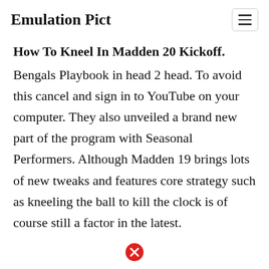Emulation Pict
How To Kneel In Madden 20 Kickoff.
Bengals Playbook in head 2 head. To avoid this cancel and sign in to YouTube on your computer. They also unveiled a brand new part of the program with Seasonal Performers. Although Madden 19 brings lots of new tweaks and features core strategy such as kneeling the ball to kill the clock is of course still a factor in the latest.
[Figure (illustration): Red circle with white X close button at bottom center of page]